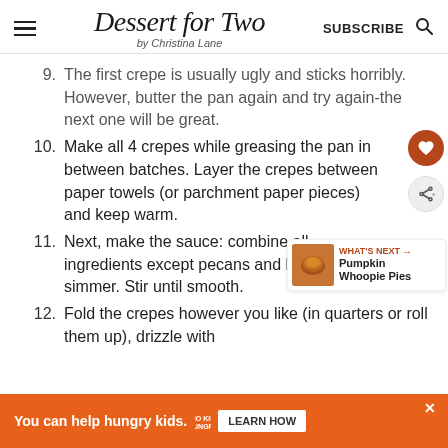Dessert for Two by Christina Lane — SUBSCRIBE
9. The first crepe is usually ugly and sticks horribly. However, butter the pan again and try again-the next one will be great.
10. Make all 4 crepes while greasing the pan in between batches. Layer the crepes between paper towels (or parchment paper pieces) and keep warm.
11. Next, make the sauce: combine all ingredients except pecans and bring to a simmer. Stir until smooth.
12. Fold the crepes however you like (in quarters or roll them up), drizzle with
[Figure (infographic): WHAT'S NEXT arrow label with Pumpkin Whoopie Pies thumbnail]
You can help hungry kids. NO KID HUNGRY LEARN HOW